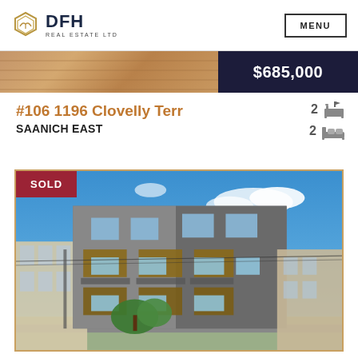DFH REAL ESTATE LTD | MENU
[Figure (photo): Partial property listing image showing wood-toned decking area with price overlay showing $685,000]
#106 1196 Clovelly Terr
SAANICH EAST
2 (bath icon) 2 (bed icon)
[Figure (photo): Exterior photo of a modern 4-storey condominium building with wood accents and large windows, blue sky background, with SOLD badge overlay]